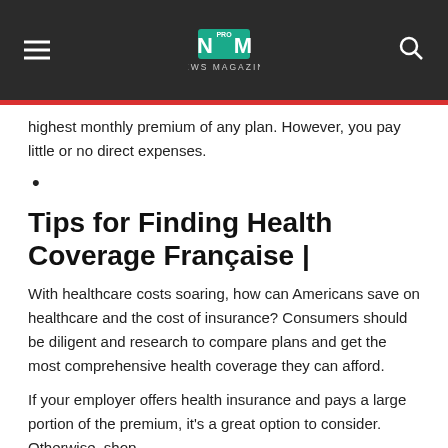NM PRO NEWS MAGAZINE
highest monthly premium of any plan. However, you pay little or no direct expenses.
Tips for Finding Health Coverage Française |
With healthcare costs soaring, how can Americans save on healthcare and the cost of insurance? Consumers should be diligent and research to compare plans and get the most comprehensive health coverage they can afford.
If your employer offers health insurance and pays a large portion of the premium, it's a great option to consider. Otherwise, shop